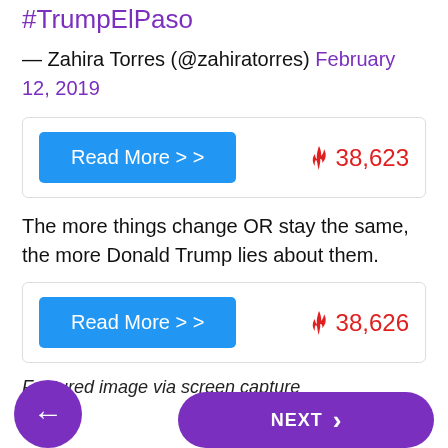#TrumpElPaso
— Zahira Torres (@zahiratorres) February 12, 2019
[Figure (screenshot): Card with blue Read More >> button and fire icon with count 38,623]
The more things change OR stay the same, the more Donald Trump lies about them.
[Figure (screenshot): Card with blue Read More >> button and fire icon with count 38,626]
Featured image via screen capture